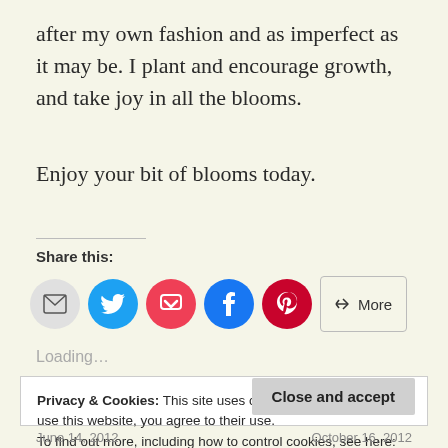after my own fashion and as imperfect as it may be. I plant and encourage growth, and take joy in all the blooms.
Enjoy your bit of blooms today.
Share this:
[Figure (infographic): Social sharing buttons: Email (grey circle), Twitter (blue circle), Pocket (red circle), Facebook (blue circle), Pinterest (dark red circle), and a More button]
Loading...
Privacy & Cookies: This site uses cookies. By continuing to use this website, you agree to their use.
To find out more, including how to control cookies, see here: Cookie Policy
Close and accept
June 14, 2012    October 16, 2012